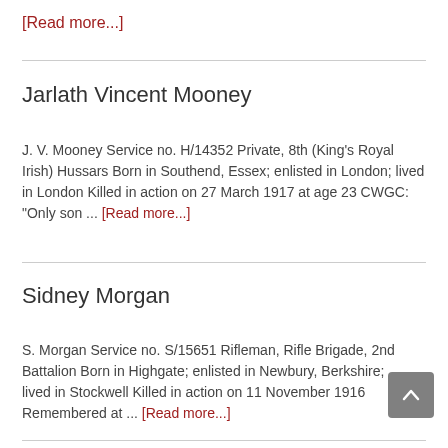[Read more...]
Jarlath Vincent Mooney
J. V. Mooney Service no. H/14352 Private, 8th (King's Royal Irish) Hussars Born in Southend, Essex; enlisted in London; lived in London Killed in action on 27 March 1917 at age 23 CWGC: "Only son ... [Read more...]
Sidney Morgan
S. Morgan Service no. S/15651 Rifleman, Rifle Brigade, 2nd Battalion Born in Highgate; enlisted in Newbury, Berkshire; lived in Stockwell Killed in action on 11 November 1916 Remembered at ... [Read more...]